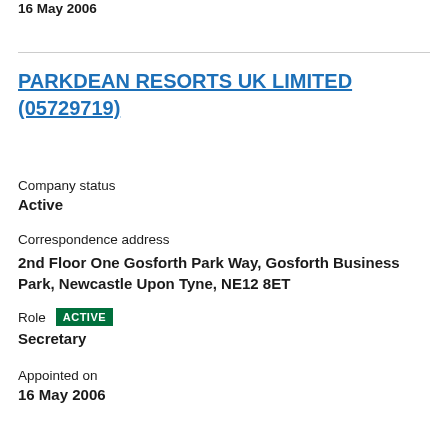16 May 2006
PARKDEAN RESORTS UK LIMITED (05729719)
Company status
Active
Correspondence address
2nd Floor One Gosforth Park Way, Gosforth Business Park, Newcastle Upon Tyne, NE12 8ET
Role  ACTIVE
Secretary
Appointed on
16 May 2006